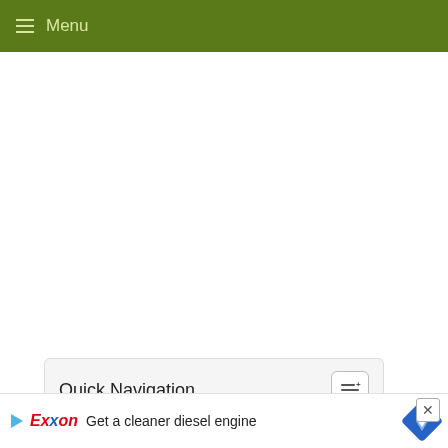≡ Menu
Quick Navigation
Why You Should Save 3 To 12 Months Of Expenses In Savings
[Figure (screenshot): Exxon advertisement banner: 'Get a cleaner diesel engine' with Exxon logo and navigation diamond icon, with close button and Exxon link below]